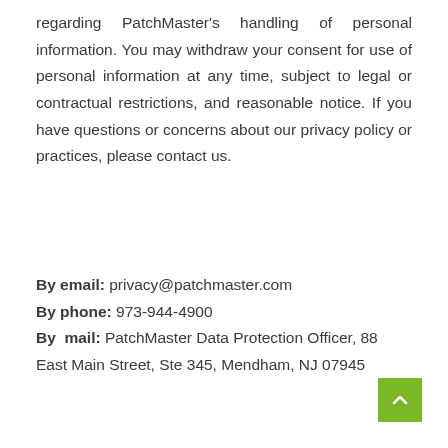regarding PatchMaster's handling of personal information. You may withdraw your consent for use of personal information at any time, subject to legal or contractual restrictions, and reasonable notice. If you have questions or concerns about our privacy policy or practices, please contact us.
By email: privacy@patchmaster.com
By phone: 973-944-4900
By mail: PatchMaster Data Protection Officer, 88 East Main Street, Ste 345, Mendham, NJ 07945